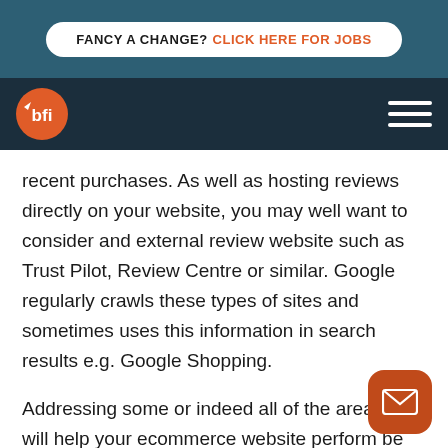FANCY A CHANGE? CLICK HERE FOR JOBS
[Figure (logo): BFI logo on dark navy navigation bar with hamburger menu icon]
recent purchases. As well as hosting reviews directly on your website, you may well want to consider and external review website such as Trust Pilot, Review Centre or similar. Google regularly crawls these types of sites and sometimes uses this information in search results e.g. Google Shopping.
Addressing some or indeed all of the areas ab... will help your ecommerce website perform be... online. Catering a website that offers a competi...